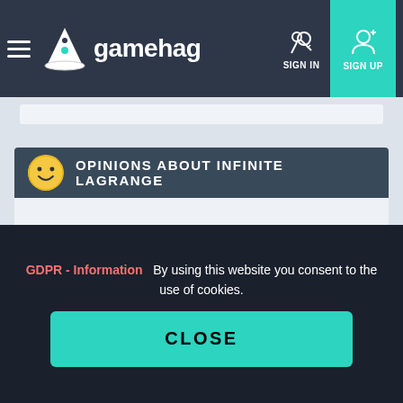gamehag — SIGN IN / SIGN UP navigation bar
OPINIONS ABOUT INFINITE LAGRANGE
GDPR - Information   By using this website you consent to the use of cookies.
CLOSE